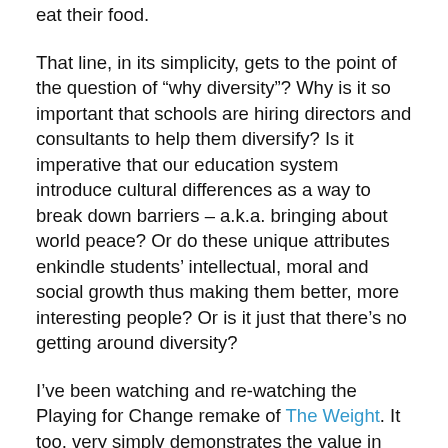eat their food.
That line, in its simplicity, gets to the point of the question of “why diversity”? Why is it so important that schools are hiring directors and consultants to help them diversify? Is it imperative that our education system introduce cultural differences as a way to break down barriers – a.k.a. bringing about world peace? Or do these unique attributes enkindle students’ intellectual, moral and social growth thus making them better, more interesting people? Or is it just that there’s no getting around diversity?
I’ve been watching and re-watching the Playing for Change remake of The Weight. It too, very simply demonstrates the value in diversity. The ukulele played often in Hawaii, originated in Portugal. The congo drum is Afro-Cuban. The oud is originally Persian. Maybe you